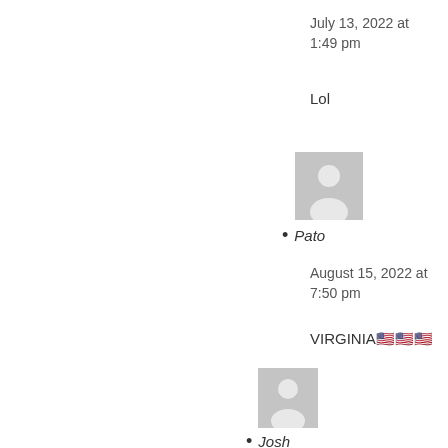July 13, 2022 at 1:49 pm
Lol
[Figure (illustration): Generic user avatar placeholder icon (grey square with silhouette)]
• Pato
August 15, 2022 at 7:50 pm
VIRGINIA🇺🇸🇺🇸🇺🇸
[Figure (illustration): Generic user avatar placeholder icon (grey square with silhouette)]
• Josh